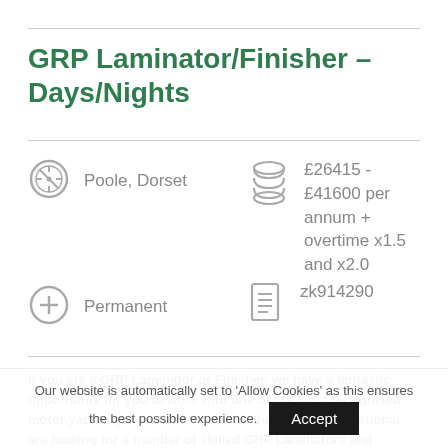GRP Laminator/Finisher – Days/Nights
Poole, Dorset
£26415 - £41600 per annum + overtime x1.5 and x2.0
Permanent
zk914290
If you are a GRP Laminator or Finisher, we have a fantastic opportunity for you to work with one of the most recognised motor yachting brands in the world. Sunseeker International are looking for a number of skilled GRP Laminators and Finishers to join
Our website is automatically set to 'Allow Cookies' as this ensures the best possible experience.